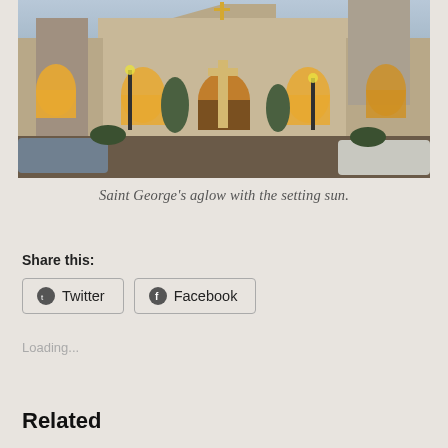[Figure (photo): Exterior of Saint George's church/cathedral at dusk, stone facade with Gothic arched windows glowing warm yellow from interior lighting, central cross monument, tower on right side, cars parked in foreground]
Saint George's aglow with the setting sun.
Share this:
Twitter
Facebook
Loading...
Related